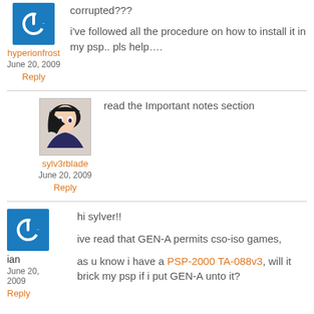hyperionfrost
June 20, 2009
Reply
corrupted???
i've followed all the procedure on how to install it in my psp.. pls help....
sylv3rblade
June 20, 2009
Reply
read the Important notes section
ian
June 20, 2009
Reply
hi sylver!!
ive read that GEN-A permits cso-iso games,
as u know i have a PSP-2000 TA-088v3, will it brick my psp if i put GEN-A unto it?